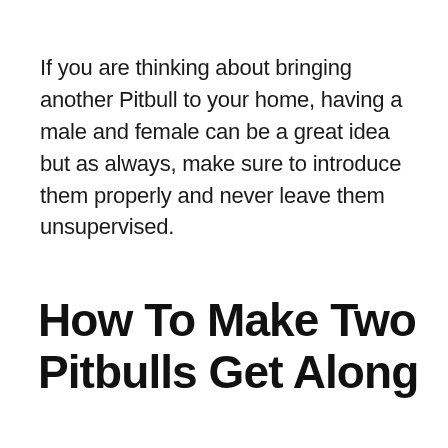If you are thinking about bringing another Pitbull to your home, having a male and female can be a great idea but as always, make sure to introduce them properly and never leave them unsupervised.
How To Make Two Pitbulls Get Along